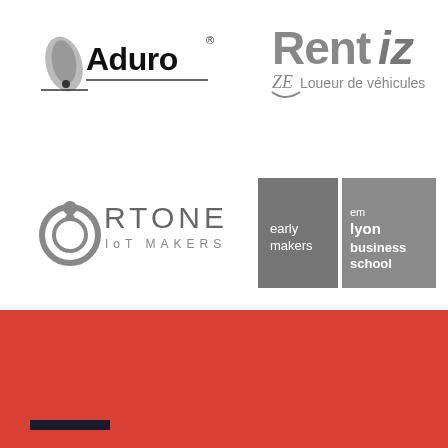[Figure (logo): Aduro logo with flame icon and black text 'Aduro' with registered trademark symbol]
[Figure (logo): Rentiz logo with stylized text 'Rentiz' and tagline 'ZE Loueur de véhicules']
[Figure (logo): RTONE IoT Makers logo with circular arrow icon and text 'RTONE IOT MAKERS']
[Figure (logo): em lyon business school logo with two grey panels - left panel 'early makers', right panel 'em lyon business school']